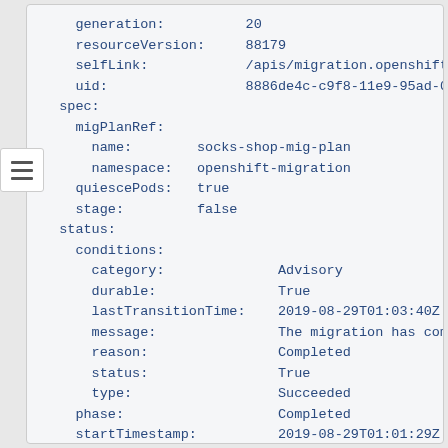generation:          20
resourceVersion:     88179
selfLink:            /apis/migration.openshift.io
uid:                 8886de4c-c9f8-11e9-95ad-02e
spec:
  migPlanRef:
    name:        socks-shop-mig-plan
    namespace:   openshift-migration
  quiescePods:   true
  stage:         false
status:
  conditions:
    category:              Advisory
    durable:               True
    lastTransitionTime:    2019-08-29T01:03:40Z
    message:               The migration has comp.
    reason:                Completed
    status:                True
    type:                  Succeeded
  phase:                   Completed
  startTimestamp:          2019-08-29T01:01:29Z
events:                    <none>